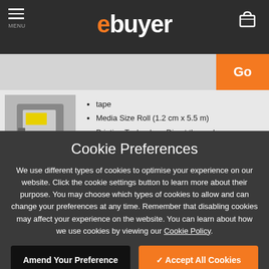ebuyer — MENU, search bar, cart icon
[Figure (screenshot): Product listing showing a label tape with bullet points: tape, Media Size Roll (1.2 cm x 5.5 m), Printing Technology Direct thermal]
tape
Media Size Roll (1.2 cm x 5.5 m)
Printing Technology Direct thermal
Cookie Preferences
We use different types of cookies to optimise your experience on our website. Click the cookie settings button to learn more about their purpose. You may choose which types of cookies to allow and can change your preferences at any time. Remember that disabling cookies may affect your experience on the website. You can learn about how we use cookies by viewing our Cookie Policy.